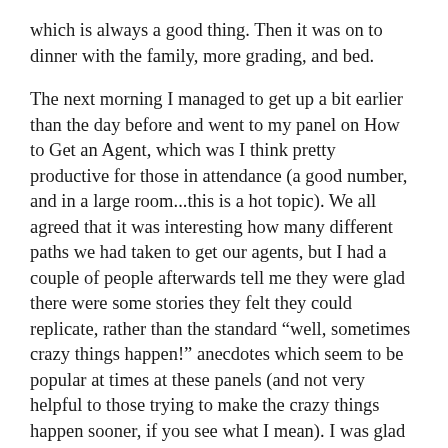which is always a good thing.  Then it was on to dinner with the family, more grading, and bed.

The next morning I managed to get up a bit earlier than the day before and went to my panel on How to Get an Agent, which was I think pretty productive for those in attendance (a good number, and in a large room...this is a hot topic).  We all agreed that it was interesting how many different paths we had taken to get our agents, but I had a couple of people afterwards tell me they were glad there were some stories they felt they could replicate, rather than the standard “well, sometimes crazy things happen!” anecdotes which seem to be popular at times at these panels (and not very helpful to those trying to make the crazy things happen sooner, if you see what I mean).  I was glad it seemed to be helpful.  I finished up my participation at the convention with a reading with Chris Jackson and Ed Greenwood, yep, that Ed